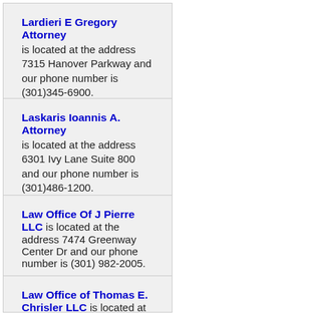Lardieri E Gregory Attorney is located at the address 7315 Hanover Parkway and our phone number is (301)345-6900.
Laskaris Ioannis A. Attorney is located at the address 6301 Ivy Lane Suite 800 and our phone number is (301)486-1200.
Law Office Of J Pierre LLC is located at the address 7474 Greenway Center Dr and our phone number is (301) 982-2005.
Law Office of Thomas E. Chrisler LLC is located at the address 6301 Ivy Lane Suite 700 and our phone number is (301)486-0066.